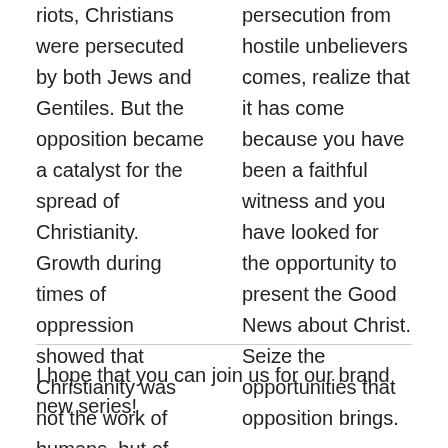riots, Christians were persecuted by both Jews and Gentiles. But the opposition became a catalyst for the spread of Christianity. Growth during times of oppression showed that Christianity was not the work of humans, but of God.
persecution from hostile unbelievers comes, realize that it has come because you have been a faithful witness and you have looked for the opportunity to present the Good News about Christ. Seize the opportunities that opposition brings.
I hope that you can join us for our brand new series!